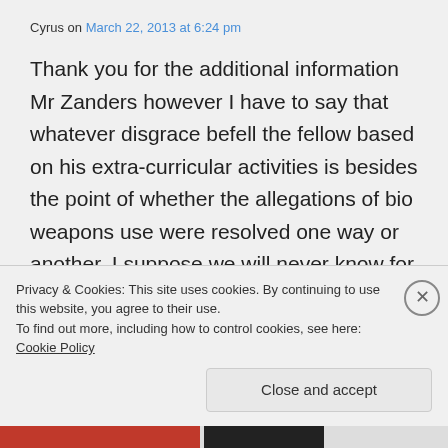Cyrus on March 22, 2013 at 6:24 pm
Thank you for the additional information Mr Zanders however I have to say that whatever disgrace befell the fellow based on his extra-curricular activities is besides the point of whether the allegations of bio weapons use were resolved one way or another. I suppose we will never know for sure now.
Privacy & Cookies: This site uses cookies. By continuing to use this website, you agree to their use.
To find out more, including how to control cookies, see here: Cookie Policy
Close and accept